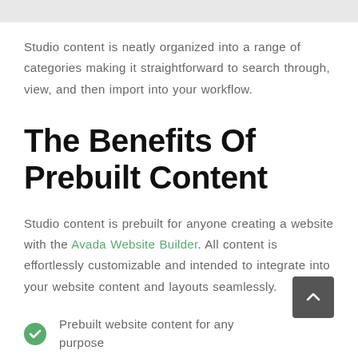Studio content is neatly organized into a range of categories making it straightforward to search through, view, and then import into your workflow.
The Benefits Of Prebuilt Content
Studio content is prebuilt for anyone creating a website with the Avada Website Builder. All content is effortlessly customizable and intended to integrate into your website content and layouts seamlessly.
Prebuilt website content for any purpose